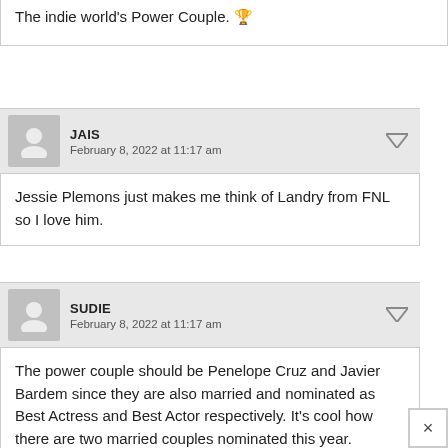The indie world's Power Couple. 🏆
JAIS
February 8, 2022 at 11:17 am
Jessie Plemons just makes me think of Landry from FNL so I love him.
SUDIE
February 8, 2022 at 11:17 am
The power couple should be Penelope Cruz and Javier Bardem since they are also married and nominated as Best Actress and Best Actor respectively. It's cool how there are two married couples nominated this year.
BERLIN
February 8, 2022 at 2:21 pm
Plemons had had a whole career before Breaking Bad on Friday Night Lights.